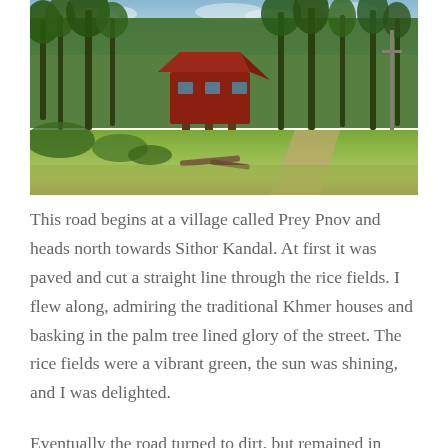[Figure (photo): A traditional Khmer stilt house with red roof surrounded by tall palm trees and lush green vegetation, with rice fields and a dirt path visible in the foreground. Overcast/partly cloudy sky.]
This road begins at a village called Prey Pnov and heads north towards Sithor Kandal. At first it was paved and cut a straight line through the rice fields. I flew along, admiring the traditional Khmer houses and basking in the palm tree lined glory of the street. The rice fields were a vibrant green, the sun was shining, and I was delighted.
Eventually the road turned to dirt, but remained in good condition. I continued to fly along. After a time, I